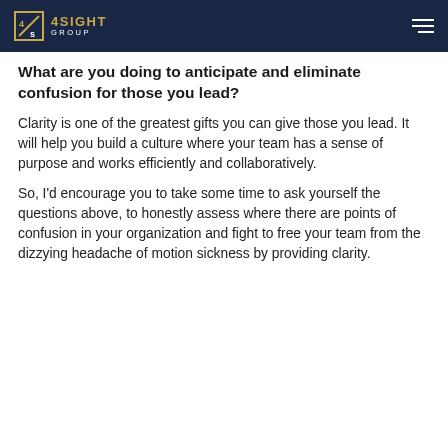4SIGHT GROUP
What are you doing to anticipate and eliminate confusion for those you lead?
Clarity is one of the greatest gifts you can give those you lead. It will help you build a culture where your team has a sense of purpose and works efficiently and collaboratively.
So, I’d encourage you to take some time to ask yourself the questions above, to honestly assess where there are points of confusion in your organization and fight to free your team from the dizzying headache of motion sickness by providing clarity.